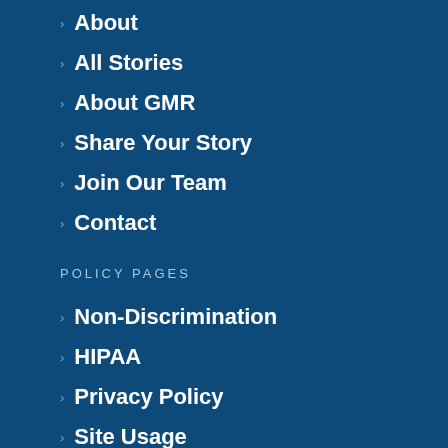About
All Stories
About GMR
Share Your Story
Join Our Team
Contact
POLICY PAGES
Non-Discrimination
HIPAA
Privacy Policy
Site Usage